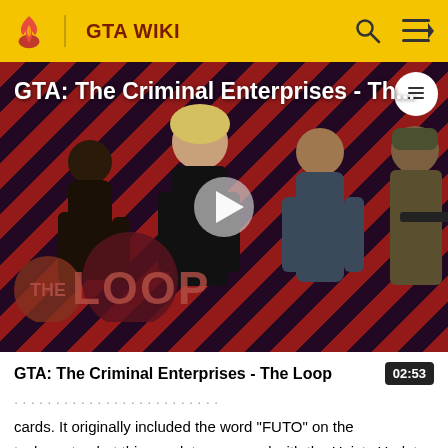GTA WIKI
[Figure (screenshot): GTA: The Criminal Enterprises - The Loop video thumbnail showing game characters on a red and purple diagonal striped background with a play button in the center and The Loop logo overlay at bottom left]
GTA: The Criminal Enterprises - The Loop
cards. It originally included the word "FUTO" on the tachometer, but this was later removed with the Heists Update.